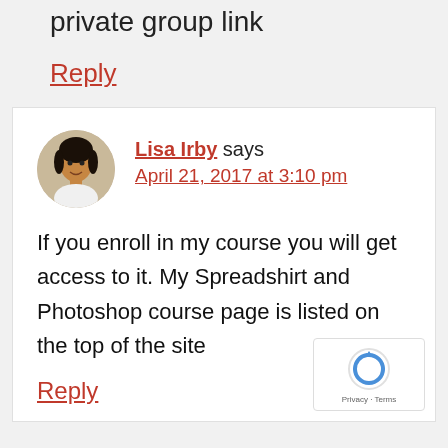private group link
Reply
[Figure (photo): Avatar photo of Lisa Irby, a woman with dark hair, smiling]
Lisa Irby says
April 21, 2017 at 3:10 pm
If you enroll in my course you will get access to it. My Spreadshirt and Photoshop course page is listed on the top of the site
Reply